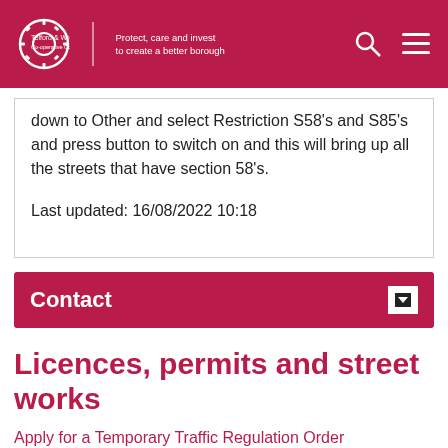Telford & Wrekin Co-operative Council — Protect, care and invest to create a better borough
down to Other and select Restriction S58's and S85's and press button to switch on and this will bring up all the streets that have section 58's.
Last updated: 16/08/2022 10:18
Contact
Licences, permits and street works
Apply for a Temporary Traffic Regulation Order
Applying for a closure on the highway